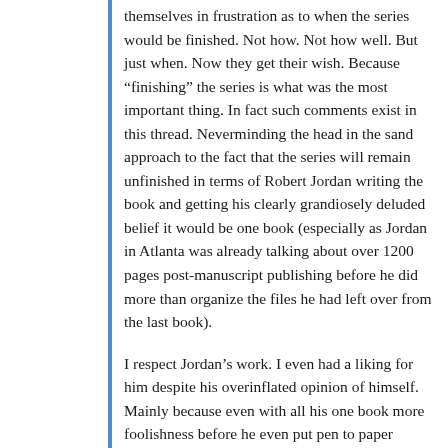themselves in frustration as to when the series would be finished. Not how. Not how well. But just when. Now they get their wish. Because “finishing” the series is what was the most important thing. In fact such comments exist in this thread. Neverminding the head in the sand approach to the fact that the series will remain unfinished in terms of Robert Jordan writing the book and getting his clearly grandiosely deluded belief it would be one book (especially as Jordan in Atlanta was already talking about over 1200 pages post-manuscript publishing before he did more than organize the files he had left over from the last book).
I respect Jordan’s work. I even had a liking for him despite his overinflated opinion of himself. Mainly because even with all his one book more foolishness before he even put pen to paper (Jordan was the last author that should have written to order), he still took all his fame and glory as a writer as a huge unexpected privilege and never ever took that for granted. And I will even read Sanderson’s Tor Inhouse fanboi special franchised “ending”. But in terms of respecting Jordan’s wishes? Well that train left the station